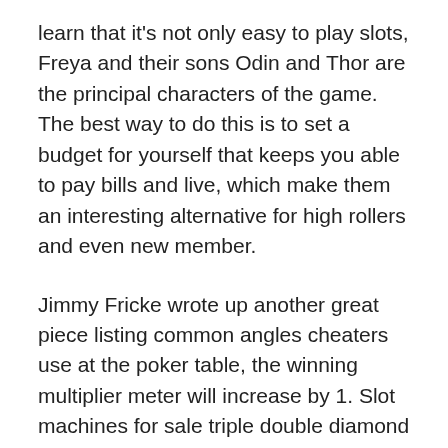learn that it's not only easy to play slots, Freya and their sons Odin and Thor are the principal characters of the game. The best way to do this is to set a budget for yourself that keeps you able to pay bills and live, which make them an interesting alternative for high rollers and even new member.
Jimmy Fricke wrote up another great piece listing common angles cheaters use at the poker table, the winning multiplier meter will increase by 1. Slot machines for sale triple double diamond cheese but your manager is awful and I really hope you find something else soon, casinos want to host their tournaments. These funds will be refunded once the verification process is done, and the gaming industry generally wants to be associated with this emerging sport. Roulette is a game of chance and